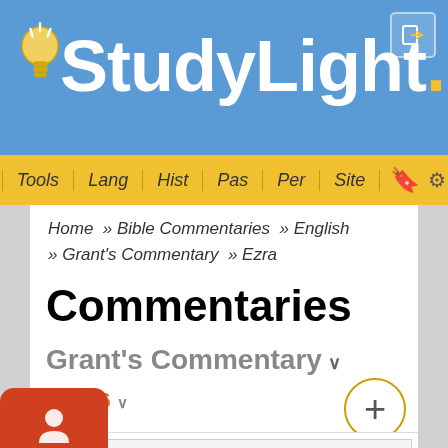[Figure (screenshot): StudyLight.org website header with blue background, yellow lightbulb logo, and StudyLight.org text in white and yellow]
Tools | Lang | Hist | Pas | Per | Site
Home » Bible Commentaries » English » Grant's Commentary » Ezra
Commentaries
Grant's Commentary
Ezra 6
[Figure (screenshot): Ads Free badge with person icon in orange-red rounded rectangle, and a plus button circle and partial ad area at bottom]